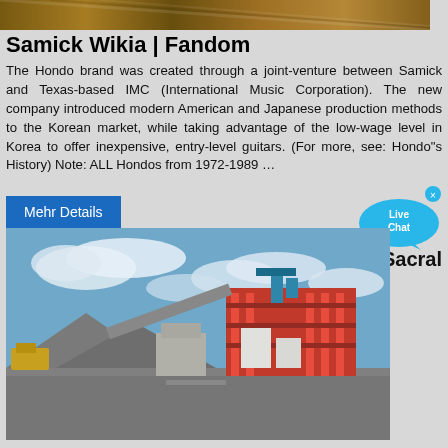[Figure (photo): Partial top image strip showing what appears to be an animal or textured surface]
Samick Wikia | Fandom
The Hondo brand was created through a joint-venture between Samick and Texas-based IMC (International Music Corporation). The new company introduced modern American and Japanese production methods to the Korean market, while taking advantage of the low-wage level in Korea to offer inexpensive, entry-level guitars. (For more, see: Hondo"s History) Note: ALL Hondos from 1972-1989 …
Mehr Details
[Figure (photo): Large industrial mining facility with orange machinery/equipment structure, piles of gravel/rock, blue sky with clouds]
Sacral
Insufficiency Fracture, Usually Overlooked Cause of …
: T-score of the lower lumbar spine was -4.0 on bone